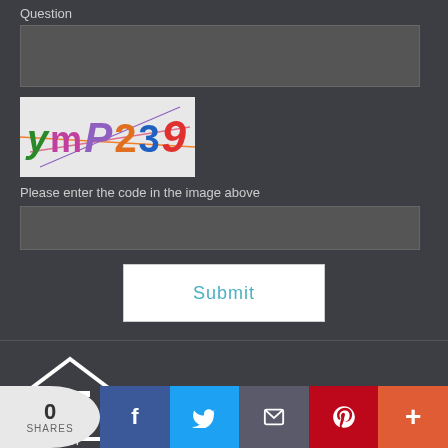Question
[Figure (screenshot): Textarea input box for question, dark background]
[Figure (photo): CAPTCHA image showing text 'ymP239' with colored letters and crossed lines on light background]
Please enter the code in the image above
[Figure (screenshot): Text input box for captcha code, dark background]
Submit
[Figure (logo): Equal Housing Opportunity logo - house outline with equals sign]
EQUAL HOUSING OPPORTUNITY
Copyright © Etrafficers, Inc., Etrafficers, Inc and its licensors. All
0 SHARES | Facebook | Twitter | Email | Pinterest | More